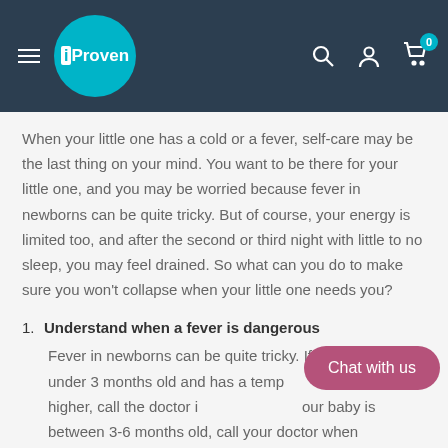iProven
When your little one has a cold or a fever, self-care may be the last thing on your mind. You want to be there for your little one, and you may be worried because fever in newborns can be quite tricky. But of course, your energy is limited too, and after the second or third night with little to no sleep, you may feel drained. So what can you do to make sure you won’t collapse when your little one needs you?
1. Understand when a fever is dangerous
Fever in newborns can be quite tricky. If your baby is under 3 months old and has a temp... degrees F or higher, call the doctor i... your baby is between 3-6 months old, call your doctor when